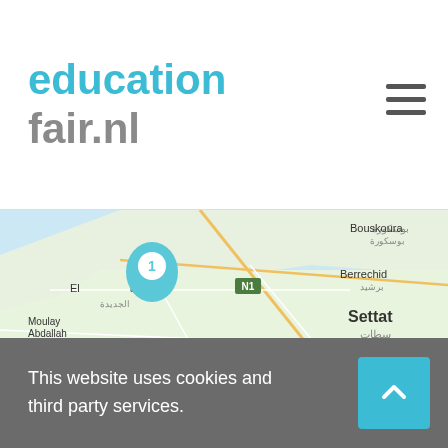educationfair.nl
[Figure (map): Google Maps view showing El Jadida area in Morocco with location marker labeled '1', showing cities including Bouskoura, Berrechid, Settat, Moulay Abdallah Amghar, Sidi Bennour, and roads N1, A3.]
This website uses cookies and third party services.